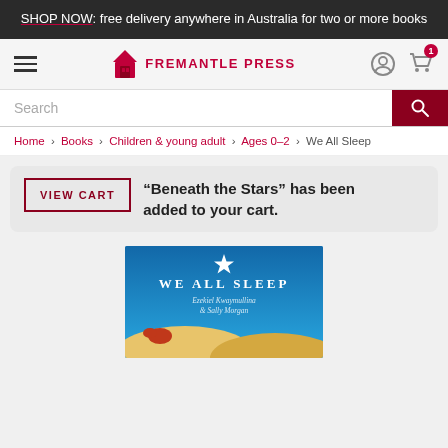SHOP NOW: free delivery anywhere in Australia for two or more books
[Figure (screenshot): Fremantle Press website navigation bar with hamburger menu, logo (building icon + FREMANTLE PRESS), user icon, and cart icon with badge showing 1]
Search
Home > Books > Children & young adult > Ages 0–2 > We All Sleep
"Beneath the Stars" has been added to your cart.
[Figure (screenshot): Book cover of 'We All Sleep' by Ezekiel Kwaymullina & Sally Morgan, showing a blue night sky background with a white star, stylized landscape with dunes and a bird silhouette]